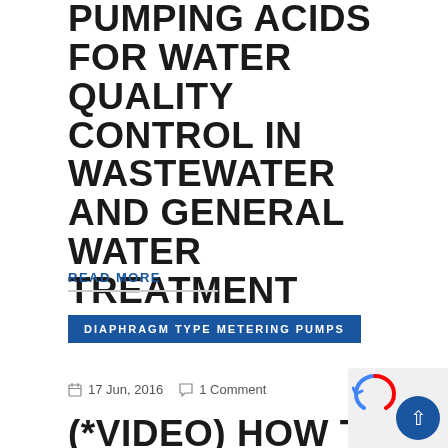PUMPING ACIDS FOR WATER QUALITY CONTROL IN WASTEWATER AND GENERAL WATER TREATMENT APPLICATIONS
READ MORE
DIAPHRAGM TYPE METERING PUMPS
17 Jun, 2016   1 Comment
(*VIDEO) HOW TO